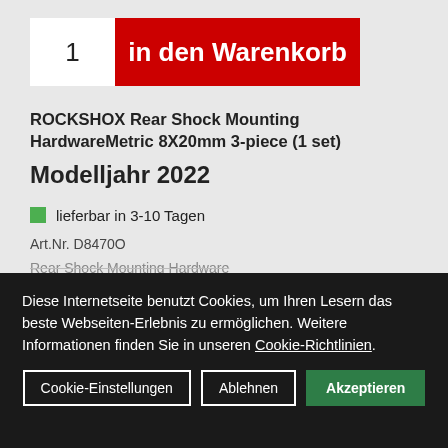[Figure (other): Add to cart button with quantity field showing '1' and red button labeled 'in den Warenkorb']
ROCKSHOX Rear Shock Mounting HardwareMetric 8X20mm 3-piece (1 set)
Modelljahr 2022
lieferbar in 3-10 Tagen
Art.Nr. D8470O
Rear Shock Mounting Hardware
Diese Internetseite benutzt Cookies, um Ihren Lesern das beste Webseiten-Erlebnis zu ermöglichen. Weitere Informationen finden Sie in unseren Cookie-Richtlinien.
Cookie-Einstellungen | Ablehnen | Akzeptieren